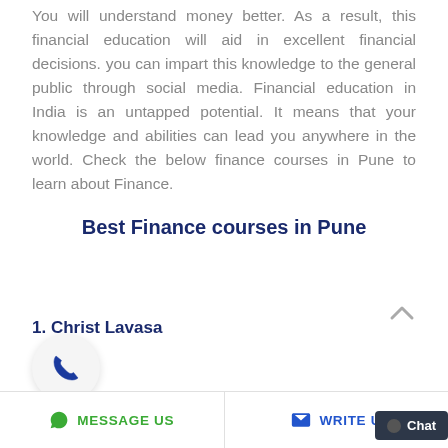You will understand money better. As a result, this financial education will aid in excellent financial decisions. you can impart this knowledge to the general public through social media. Financial education in India is an untapped potential. It means that your knowledge and abilities can lead you anywhere in the world. Check the below finance courses in Pune to learn about Finance.
Best Finance courses in Pune
1. Christ Lavasa
[Figure (other): Phone call icon inside a circular white button with shadow]
MESSAGE US   WRITE U   Chat